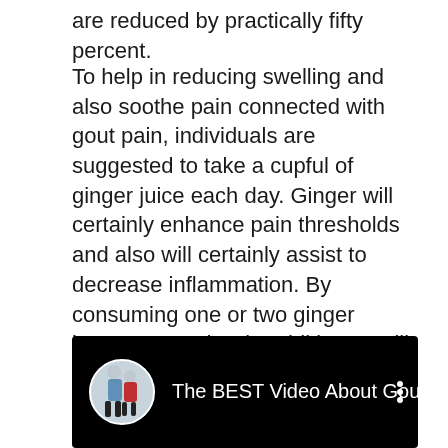are reduced by practically fifty percent.
To help in reducing swelling and also soothe pain connected with gout pain, individuals are suggested to take a cupful of ginger juice each day. Ginger will certainly enhance pain thresholds and also will certainly assist to decrease inflammation. By consuming one or two ginger beverages a day, in addition to Milk Thistle and other natural herbs, gout patients can delight in effective discomfort relief and also reduce the chance of a reappearance of gout arthritis.
[Figure (screenshot): A YouTube video thumbnail with a black background showing a circular avatar with two people (medical/health presenters) on the left, and the title text 'The BEST Video About Gout Eve...' in white, with a three-dot menu icon on the right.]